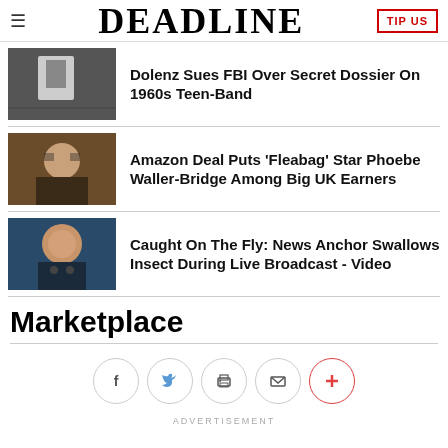DEADLINE | TIP US
Dolenz Sues FBI Over Secret Dossier On 1960s Teen-Band
Amazon Deal Puts 'Fleabag' Star Phoebe Waller-Bridge Among Big UK Earners
Caught On The Fly: News Anchor Swallows Insect During Live Broadcast - Video
Marketplace
[Figure (other): Social sharing icons row: Facebook, Twitter, Print, Email, Plus]